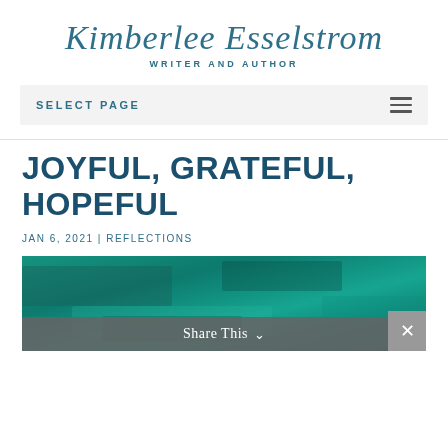Kimberlee Esselstrom
WRITER AND AUTHOR
SELECT PAGE
JOYFUL, GRATEFUL, HOPEFUL
JAN 6, 2021 | REFLECTIONS
[Figure (photo): Teal-colored abstract background image, deep blue-green tones with texture]
Share This